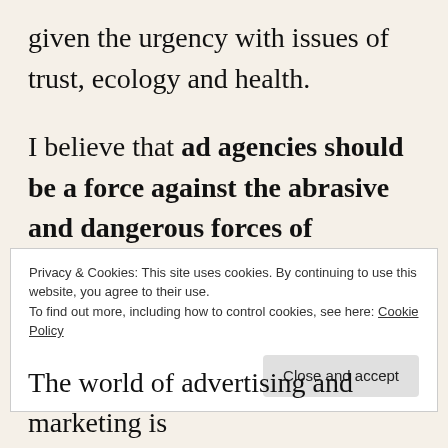given the urgency with issues of trust, ecology and health.
I believe that ad agencies should be a force against the abrasive and dangerous forces of misinformation, not a feckless opportunist making a quick profit in the growing wave of xenophobia.
I would love to partner with people who
Privacy & Cookies: This site uses cookies. By continuing to use this website, you agree to their use.
To find out more, including how to control cookies, see here: Cookie Policy
The world of advertising and marketing is